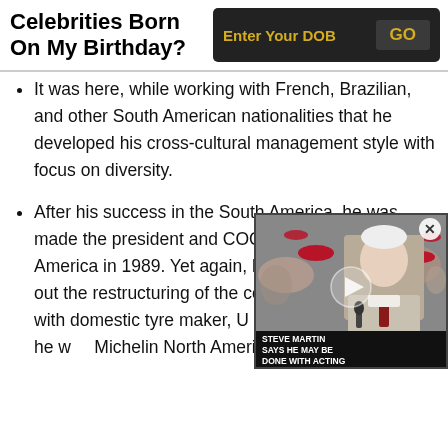Celebrities Born On My Birthday?
It was here, while working with French, Brazilian, and other South American nationalities that he developed his cross-cultural management style with focus on diversity.
After his success in the South America, he was made the president and COO of Michelin North America in 1989. Yet again, he successfully carried out the restructuring of the company post its merger with domestic tyre maker, U[niroyal] Company. A year later, he w[as named CEO of] Michelin North America.
[Figure (screenshot): Video thumbnail overlay showing Steve Martin at an event, with caption 'STEVE MARTIN SAYS HE MAY BE DONE WITH ACTING' and a play button. Has a close (X) button in top right.]